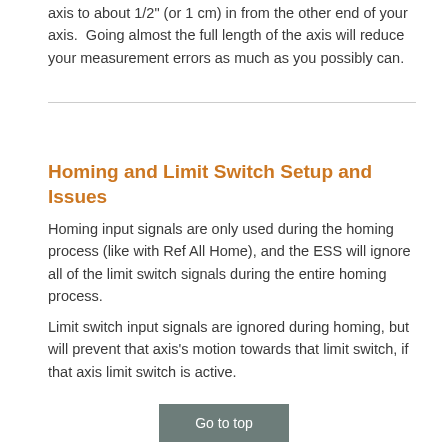axis to about 1/2" (or 1 cm) in from the other end of your axis.  Going almost the full length of the axis will reduce your measurement errors as much as you possibly can.
Homing and Limit Switch Setup and Issues
Homing input signals are only used during the homing process (like with Ref All Home), and the ESS will ignore all of the limit switch signals during the entire homing process.
Limit switch input signals are ignored during homing, but will prevent that axis's motion towards that limit switch, if that axis limit switch is active.
Go to top